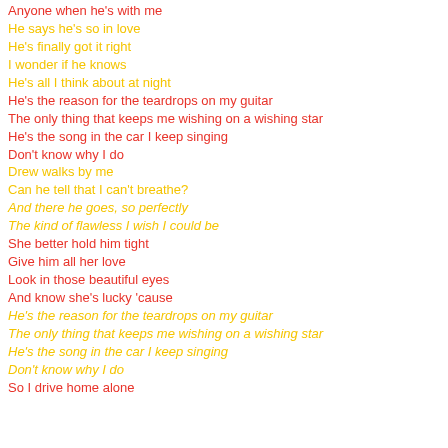Anyone when he's with me
He says he's so in love
He's finally got it right
I wonder if he knows
He's all I think about at night
He's the reason for the teardrops on my guitar
The only thing that keeps me wishing on a wishing star
He's the song in the car I keep singing
Don't know why I do
Drew walks by me
Can he tell that I can't breathe?
And there he goes, so perfectly
The kind of flawless I wish I could be
She better hold him tight
Give him all her love
Look in those beautiful eyes
And know she's lucky 'cause
He's the reason for the teardrops on my guitar
The only thing that keeps me wishing on a wishing star
He's the song in the car I keep singing
Don't know why I do
So I drive home alone